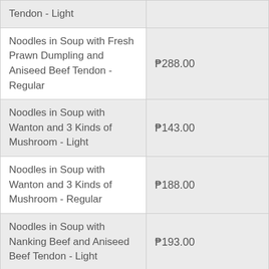| Item | Price |
| --- | --- |
| Tendon - Light |  |
| Noodles in Soup with Fresh Prawn Dumpling and Aniseed Beef Tendon - Regular | ₱288.00 |
| Noodles in Soup with Wanton and 3 Kinds of Mushroom - Light | ₱143.00 |
| Noodles in Soup with Wanton and 3 Kinds of Mushroom - Regular | ₱188.00 |
| Noodles in Soup with Nanking Beef and Aniseed Beef Tendon - Light | ₱193.00 |